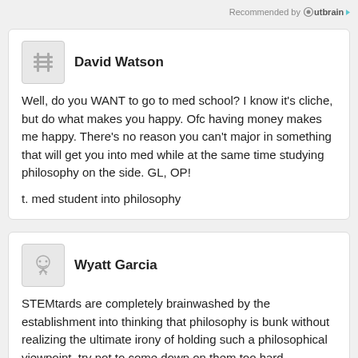Recommended by Outbrain
David Watson
Well, do you WANT to go to med school? I know it's cliche, but do what makes you happy. Ofc having money makes me happy. There's no reason you can't major in something that will get you into med while at the same time studying philosophy on the side. GL, OP!

t. med student into philosophy
Wyatt Garcia
STEMtards are completely brainwashed by the establishment into thinking that philosophy is bunk without realizing the ultimate irony of holding such a philosophical viewpoint, try not to come down on them too hard.